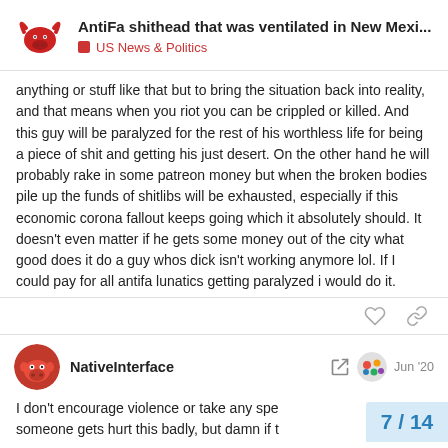AntiFa shithead that was ventilated in New Mexi... | US News & Politics
anything or stuff like that but to bring the situation back into reality, and that means when you riot you can be crippled or killed. And this guy will be paralyzed for the rest of his worthless life for being a piece of shit and getting his just desert. On the other hand he will probably rake in some patreon money but when the broken bodies pile up the funds of shitlibs will be exhausted, especially if this economic corona fallout keeps going which it absolutely should. It doesn't even matter if he gets some money out of the city what good does it do a guy whos dick isn't working anymore lol. If I could pay for all antifa lunatics getting paralyzed i would do it.
NativeInterface Jun '20
I don't encourage violence or take any spe someone gets hurt this badly, but damn if t
7 / 14